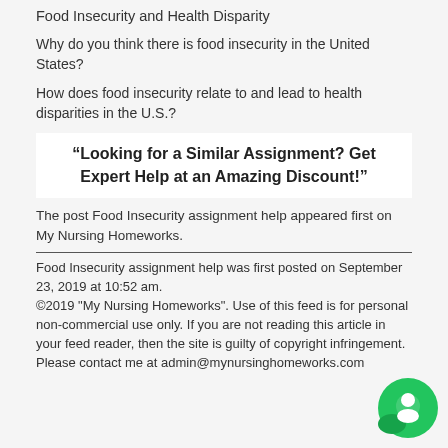Food Insecurity and Health Disparity
Why do you think there is food insecurity in the United States?
How does food insecurity relate to and lead to health disparities in the U.S.?
“Looking for a Similar Assignment? Get Expert Help at an Amazing Discount!”
The post Food Insecurity assignment help appeared first on My Nursing Homeworks.
Food Insecurity assignment help was first posted on September 23, 2019 at 10:52 am.
©2019 "My Nursing Homeworks". Use of this feed is for personal non-commercial use only. If you are not reading this article in your feed reader, then the site is guilty of copyright infringement. Please contact me at admin@mynursinghomeworks.com